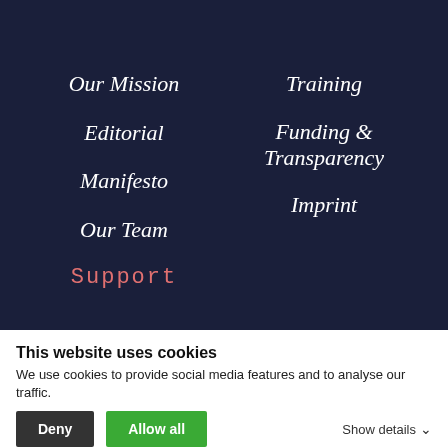Our Mission
Training
Editorial
Funding & Transparency
Manifesto
Imprint
Our Team
Support
Newsletter
Donations
This website uses cookies
We use cookies to provide social media features and to analyse our traffic.
Deny
Allow all
Show details